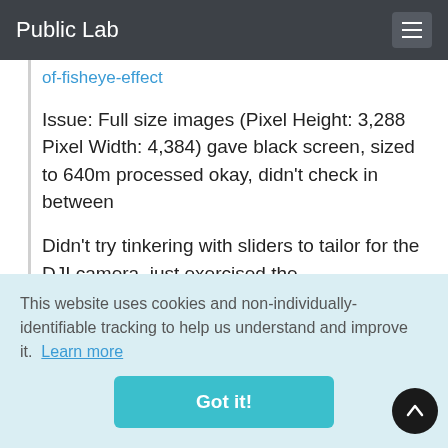Public Lab
of-fisheye-effect
Issue: Full size images (Pixel Height: 3,288 Pixel Width: 4,384) gave black screen, sized to 640m processed okay, didn't check in between
Didn't try tinkering with sliders to tailor for the DJI camera, just exercised the
This website uses cookies and non-individually-identifiable tracking to help us understand and improve it.  Learn more
Got it!
07-2015/mobius-non-fish-eye-and